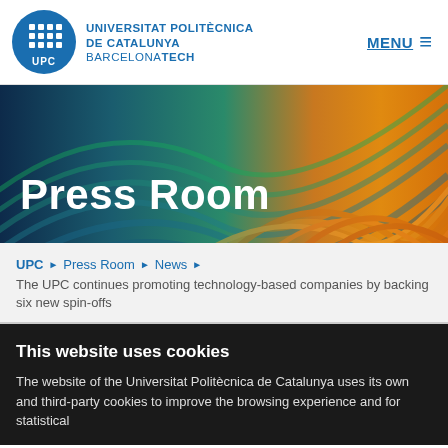UNIVERSITAT POLITÈCNICA DE CATALUNYA BARCELONATECH | MENU
[Figure (illustration): Press Room banner with colorful wave pattern background in blues, greens and oranges/yellows, with 'Press Room' text overlay in white]
Press Room
UPC ▶ Press Room ▶ News ▶ The UPC continues promoting technology-based companies by backing six new spin-offs
This website uses cookies
The website of the Universitat Politècnica de Catalunya uses its own and third-party cookies to improve the browsing experience and for statistical